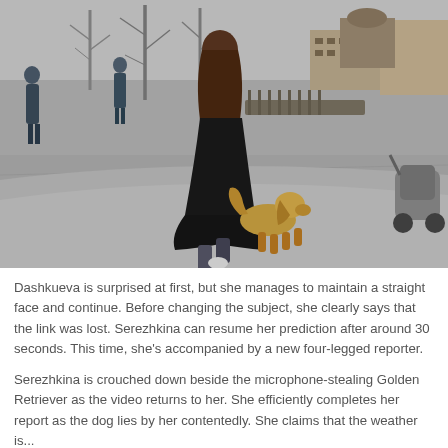[Figure (photo): Outdoor plaza scene. A woman in a long black coat is walking/running from behind, accompanied by a golden-colored dog (Golden Retriever) trotting beside her. Other people are visible in the background, along with bare trees, a paved square, buildings, and a baby stroller on the right.]
Dashkueva is surprised at first, but she manages to maintain a straight face and continue. Before changing the subject, she clearly says that the link was lost. Serezhkina can resume her prediction after around 30 seconds. This time, she's accompanied by a new four-legged reporter.
Serezhkina is crouched down beside the microphone-stealing Golden Retriever as the video returns to her. She efficiently completes her report as the dog lies by her contentedly. She claims that the weather is...